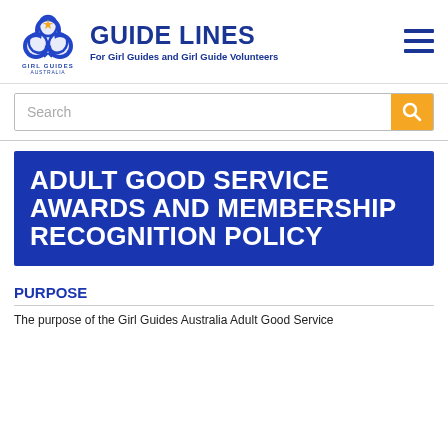[Figure (logo): Girl Guides Australia trefoil logo with text GIRL GUIDES AUSTRALIA]
GUIDE LINES
For Girl Guides and Girl Guide Volunteers
[Figure (other): Hamburger menu icon (three horizontal lines)]
[Figure (other): Search bar with orange search button]
ADULT GOOD SERVICE AWARDS AND MEMBERSHIP RECOGNITION POLICY
PURPOSE
The purpose of the Girl Guides Australia Adult Good Service